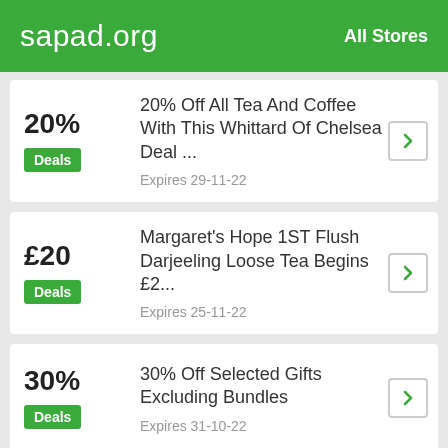sapad.org   All Stores
20% — 20% Off All Tea And Coffee With This Whittard Of Chelsea Deal ... Expires 29-11-22
£20 — Margaret's Hope 1ST Flush Darjeeling Loose Tea Begins £2... Expires 25-11-22
30% — 30% Off Selected Gifts Excluding Bundles Expires 31-10-22